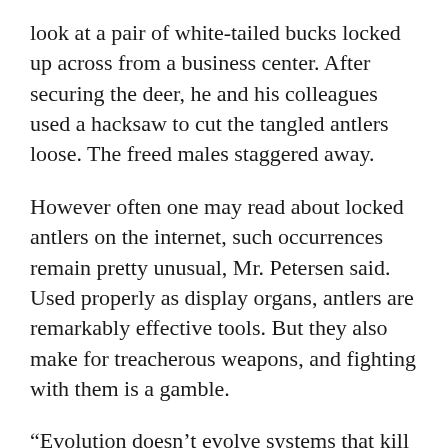look at a pair of white-tailed bucks locked up across from a business center. After securing the deer, he and his colleagues used a hacksaw to cut the tangled antlers loose. The freed males staggered away.
However often one may read about locked antlers on the internet, such occurrences remain pretty unusual, Mr. Petersen said. Used properly as display organs, antlers are remarkably effective tools. But they also make for treacherous weapons, and fighting with them is a gamble.
“Evolution doesn’t evolve systems that kill off prime breeders,” Mr. Petersen said. “When you see these things happen, it’s an evolutionary